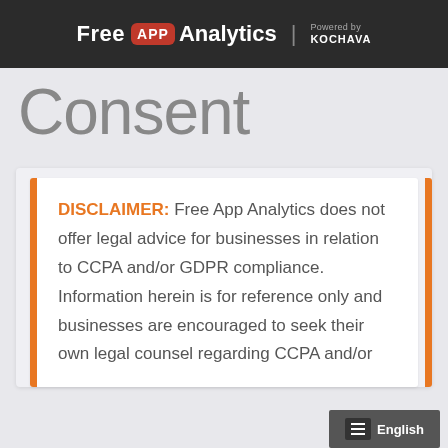Free APP Analytics | Powered by KOCHAVA
Consent
DISCLAIMER: Free App Analytics does not offer legal advice for businesses in relation to CCPA and/or GDPR compliance. Information herein is for reference only and businesses are encouraged to seek their own legal counsel regarding CCPA and/or